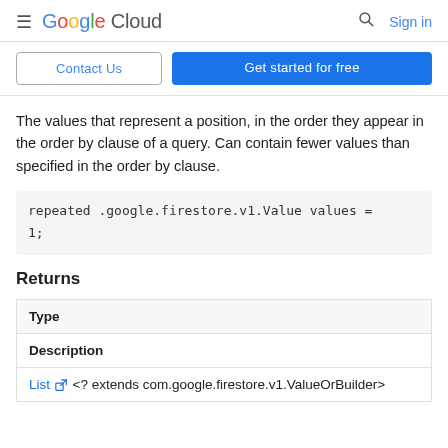Google Cloud — Search | Sign in
Contact Us | Get started for free
The values that represent a position, in the order they appear in the order by clause of a query. Can contain fewer values than specified in the order by clause.
Returns
| Type | Description |
| --- | --- |
| List <? extends com.google.firestore.v1.ValueOrBuilder> |  |